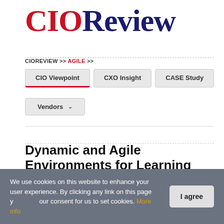[Figure (logo): CIOReview logo with CIO in red and Review in dark navy blue, serif font]
CIOREVIEW >> AGILE >>
CIO Viewpoint | CXO Insight | CASE Study | Vendors
Dynamic and Agile Environments for Learning
Brian Fodrey, CIO, Stevenson University
We use cookies on this website to enhance your user experience. By clicking any link on this page you give your consent for us to set cookies. More info